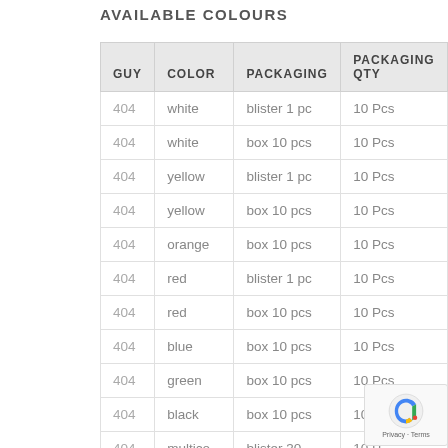AVAILABLE COLOURS
| GUY | COLOR | PACKAGING | PACKAGING QTY |
| --- | --- | --- | --- |
| 404 | white | blister 1 pc | 10 Pcs |
| 404 | white | box 10 pcs | 10 Pcs |
| 404 | yellow | blister 1 pc | 10 Pcs |
| 404 | yellow | box 10 pcs | 10 Pcs |
| 404 | orange | box 10 pcs | 10 Pcs |
| 404 | red | blister 1 pc | 10 Pcs |
| 404 | red | box 10 pcs | 10 Pcs |
| 404 | blue | box 10 pcs | 10 Pcs |
| 404 | green | box 10 pcs | 10 Pcs |
| 404 | black | box 10 pcs | 10 Pcs |
| 404 | multicolor | blister 30... | 10 Pcs |